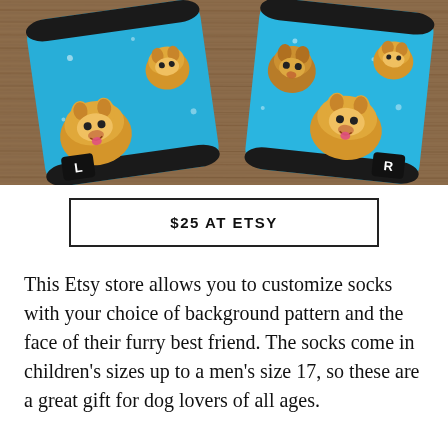[Figure (photo): Photo of two custom socks laid on a wooden surface. The socks are bright blue with corgi/dog faces printed on them. The left sock is labeled 'L' and the right sock is labeled 'R' on black rectangular tags at the bottom.]
$25 AT ETSY
This Etsy store allows you to customize socks with your choice of background pattern and the face of their furry best friend. The socks come in children's sizes up to a men's size 17, so these are a great gift for dog lovers of all ages.